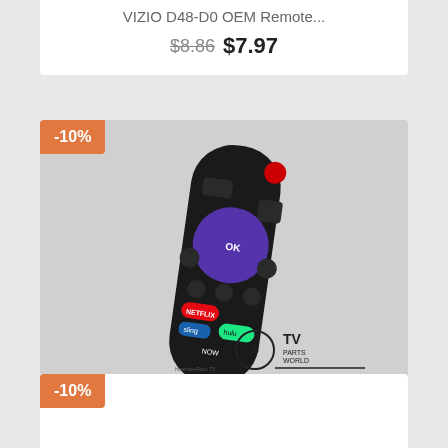VIZIO D48-D0 OEM Remote...
$8.86 $7.97
[Figure (photo): Photo of a Hisense Roku TV remote control (model 43R6E), black with purple directional pad, Netflix, Sling, Hulu, NOW buttons, and TV Parts World watermark. Badge showing -10% discount in orange.]
Hisense 43R6E Remote...
$8.86 $7.97
-10%